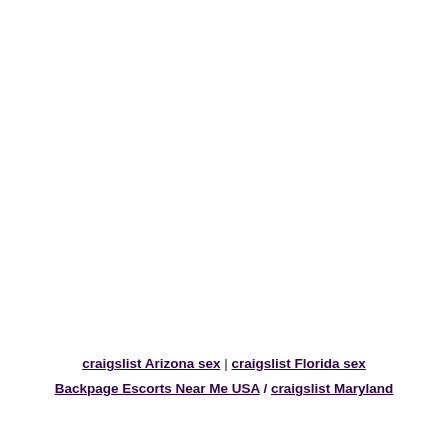craigslist Arizona sex | craigslist Florida sex
Backpage Escorts Near Me USA / craigslist Maryland